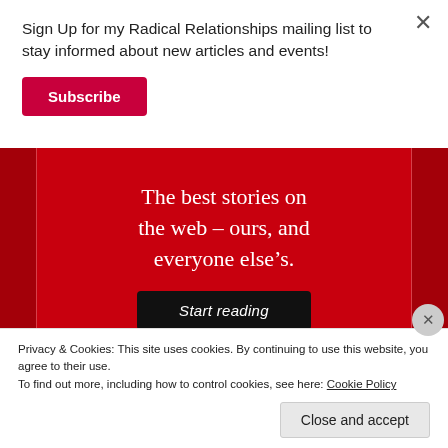Sign Up for my Radical Relationships mailing list to stay informed about new articles and events!
Subscribe
[Figure (screenshot): Red advertisement banner with serif white headline text: 'The best stories on the web – ours, and everyone else's.' with a 'Start reading' button on dark background. Red side strips flank a central panel.]
Privacy & Cookies: This site uses cookies. By continuing to use this website, you agree to their use.
To find out more, including how to control cookies, see here: Cookie Policy
Close and accept